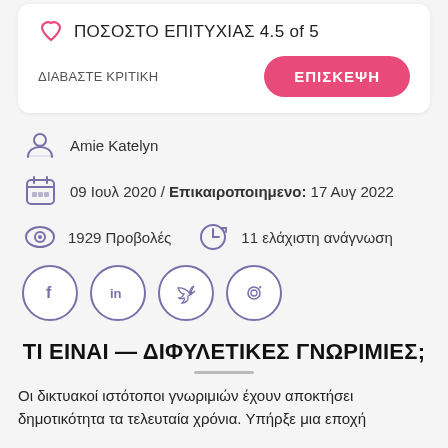ΠΟΣΟΣΤΟ ΕΠΙΤΥΧΙΑΣ 4.5 of 5
ΔΙΑΒΑΣΤΕ ΚΡΙΤΙΚΗ
ΕΠΙΣΚΕΨΗ
Amie Katelyn
09 Ιουλ 2020 / Επικαιροποιημενο: 17 Αυγ 2022
1929 Προβολές
11 ελάχιστη ανάγνωση
[Figure (other): Social share icons: Facebook, LinkedIn, Twitter, Pinterest]
ΤΙ ΕΙΝΑΙ — ΔΙΦΥΛΕΤΙΚΕΣ ΓΝΩΡΙΜΙΕΣ;
Οι δικτυακοί ιστότοποι γνωριμιών έχουν αποκτήσει δημοτικότητα τα τελευταία χρόνια. Υπήρξε μια εποχή